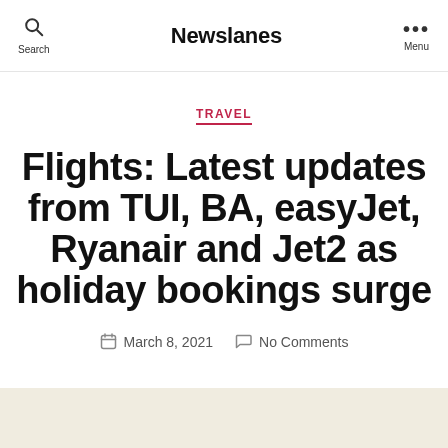Newslanes
TRAVEL
Flights: Latest updates from TUI, BA, easyJet, Ryanair and Jet2 as holiday bookings surge
March 8, 2021   No Comments